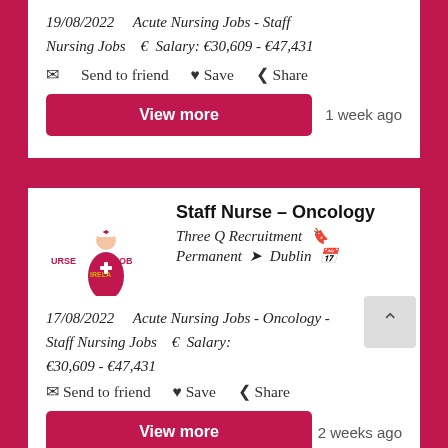19/08/2022    Acute Nursing Jobs - Staff Nursing Jobs  €  Salary: €30,609 - €47,431
✉ Send to friend  ♥ Save  ❮ Share
View more
1 week ago
[Figure (logo): Nurse Jobs Ireland logo with pink nurse figure and text]
Staff Nurse – Oncology
Three Q Recruitment  🔖
Permanent  ➤  Dublin  📅
17/08/2022   Acute Nursing Jobs - Oncology - Staff Nursing Jobs  €  Salary: €30,609 - €47,431
✉ Send to friend  ♥ Save  ❮ Share
View more
2 weeks ago